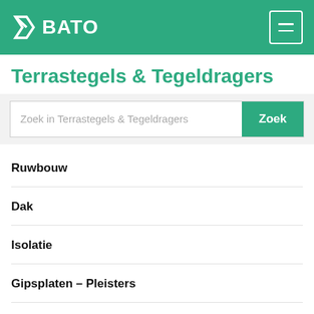BATO
Terrastegels & Tegeldragers
Zoek in Terrastegels & Tegeldragers
Ruwbouw
Dak
Isolatie
Gipsplaten – Pleisters
IJzer – Bekisting